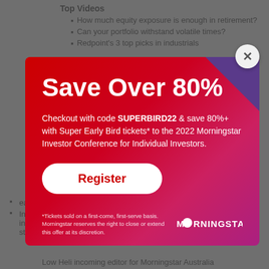Top Videos
How much equity exposure is enough in retirement?
Can your portfolio withstand volatile times?
Redpoint's 3 top picks in industrials
[Figure (screenshot): Morningstar promotional modal popup with red-to-pink gradient background. Headline reads 'Save Over 80%'. Subtext: 'Checkout with code SUPERBIRD22 & save 80%+ with Super Early Bird tickets* to the 2022 Morningstar Investor Conference for Individual Investors.' A white Register button with red text. Disclaimer text at bottom left. Morningstar logo at bottom right. Purple triangle in top-right corner. Close button (X) in top-right outside modal.]
Investing basics: Ready to invest? Here's how to get started
Redpoint...
Can your...